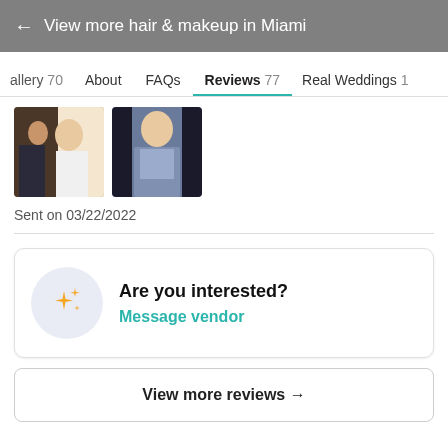← View more hair & makeup in Miami
allery 70   About   FAQs   Reviews 77   Real Weddings 1
[Figure (photo): Two wedding photos side by side: left shows a couple kissing/embracing, right shows a woman in a blue/grey formal dress.]
Sent on 03/22/2022
Are you interested?
Message vendor
View more reviews →